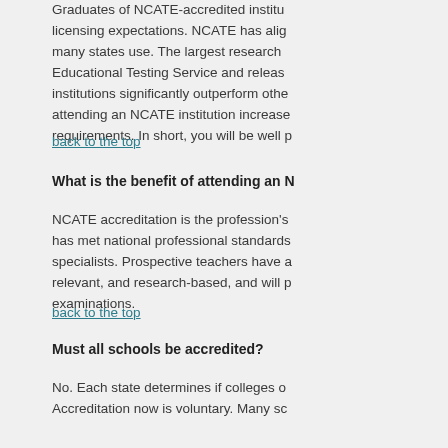Graduates of NCATE-accredited institutions meet licensing expectations. NCATE has aligned many states use. The largest research Educational Testing Service and release institutions significantly outperform others attending an NCATE institution increases requirements. In short, you will be well p
back to the top
What is the benefit of attending an N
NCATE accreditation is the profession's has met national professional standards specialists. Prospective teachers have a relevant, and research-based, and will p examinations.
back to the top
Must all schools be accredited?
No. Each state determines if colleges o Accreditation now is voluntary. Many sc excellence. However, one-third of the s Forty-six states have partnerships with education. As a result of the partnership state's standards for all institutions in 2
back to the top